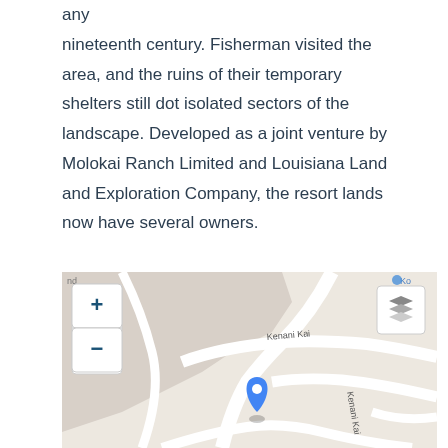any nineteenth century. Fisherman visited the area, and the ruins of their temporary shelters still dot isolated sectors of the landscape. Developed as a joint venture by Molokai Ranch Limited and Louisiana Land and Exploration Company, the resort lands now have several owners.
[Figure (map): Google Maps-style street map showing Kenani Kai road with a blue location pin marker, zoom in/out controls on the left, and a layers button on the upper right.]